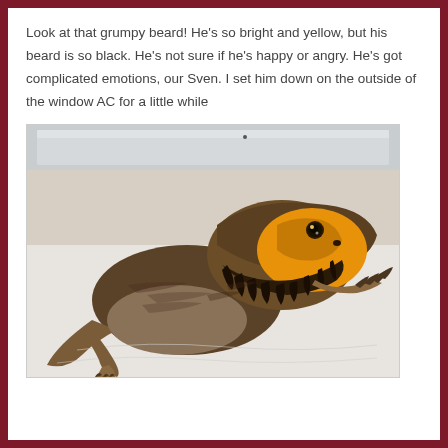Look at that grumpy beard! He's so bright and yellow, but his beard is so black. He's not sure if he's happy or angry. He's got complicated emotions, our Sven. I set him down on the outside of the window AC for a little while
[Figure (photo): A bearded dragon lizard with bright yellow/orange coloring on its face and black beard, lying on a white surface near a window air conditioning unit. The lizard's front claws are extended and its textured scales are visible.]